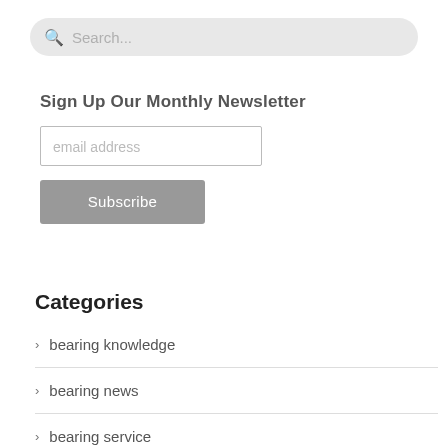[Figure (screenshot): Search bar with magnifying glass icon and placeholder text 'Search...']
Sign Up Our Monthly Newsletter
[Figure (screenshot): Email address input field with placeholder text 'email address' and a 'Subscribe' button below]
Categories
bearing knowledge
bearing news
bearing service